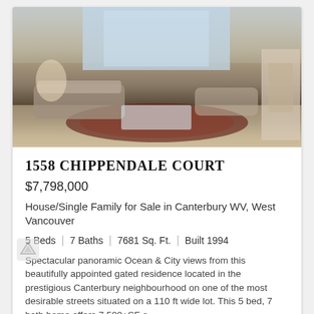[Figure (photo): Interior photo of a luxury living room with ornate sofas, decorative pillows, a large Persian rug, a glass coffee table, and floor-to-ceiling windows with panoramic ocean and city views.]
1558 CHIPPENDALE COURT
$7,798,000
House/Single Family for Sale in Canterbury WV, West Vancouver
5 Beds  |  7 Baths  |  7681 Sq. Ft.  |  Built 1994
Spectacular panoramic Ocean & City views from this beautifully appointed gated residence located in the prestigious Canterbury neighbourhood on one of the most desirable streets situated on a 110 ft wide lot. This 5 bed, 7 bath home offers 7,500+SF o ...